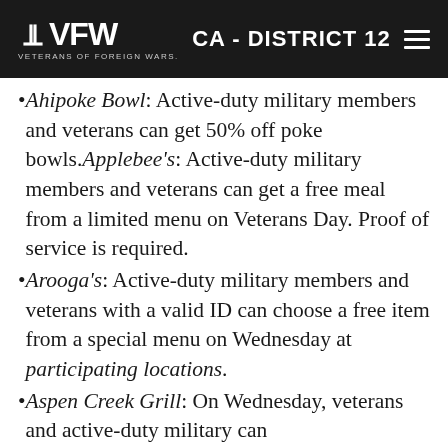VFW VETERANS OF FOREIGN WARS. CA - DISTRICT 12
Ahipoke Bowl: Active-duty military members and veterans can get 50% off poke bowls. Applebee's: Active-duty military members and veterans can get a free meal from a limited menu on Veterans Day. Proof of service is required.
Arooga's: Active-duty military members and veterans with a valid ID can choose a free item from a special menu on Wednesday at participating locations.
Aspen Creek Grill: On Wednesday, veterans and active-duty military can